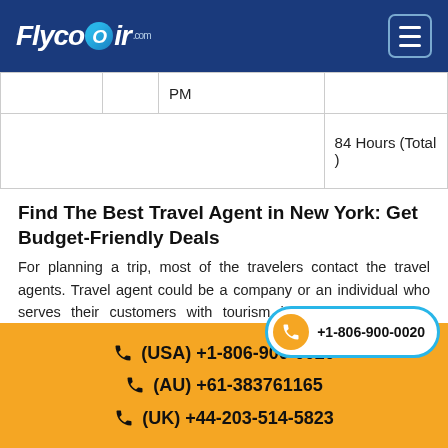FlycoAir.com
|  |  | PM |  |
|  |  |  | 84 Hours (Total) |
Find The Best Travel Agent in New York: Get Budget-Friendly Deals
For planning a trip, most of the travelers contact the travel agents. Travel agent could be a company or an individual who serves their customers with tourism info, travel expenses, accommodation, the trip. A traveler must contact the...
+1-806-900-0020
(USA) +1-806-900-0020 | (AU) +61-383761165 | (UK) +44-203-514-5823